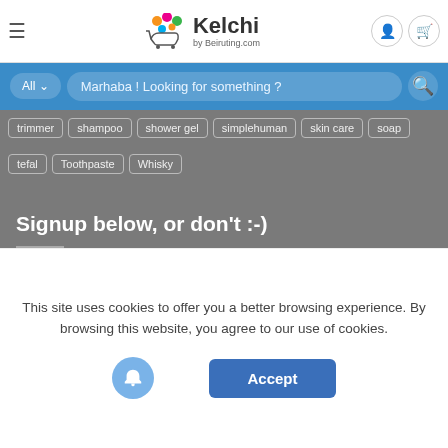[Figure (screenshot): Kelchi by Beiruting.com website header with logo, hamburger menu, user and cart icons]
[Figure (screenshot): Blue search bar with 'All' dropdown and placeholder text 'Marhaba! Looking for something?' and search icon]
trimmer
shampoo
shower gel
simplehuman
skin care
soap
tefal
Toothpaste
Whisky
Signup below, or don't :-)
and receive exceptional discount coupons
* indicates required
Email Address *
This site uses cookies to offer you a better browsing experience. By browsing this website, you agree to our use of cookies.
Accept